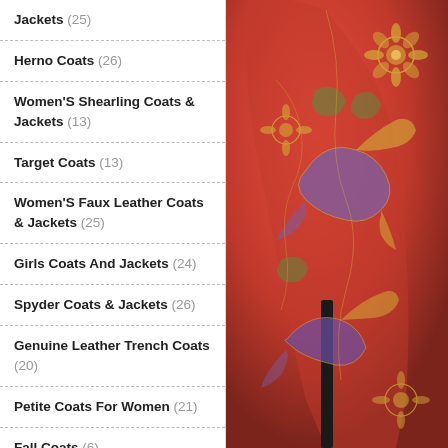Jackets (25)
Herno Coats (26)
Women'S Shearling Coats & Jackets (13)
Target Coats (13)
Women'S Faux Leather Coats & Jackets (25)
Girls Coats And Jackets (24)
Spyder Coats & Jackets (26)
Genuine Leather Trench Coats (20)
Petite Coats For Women (21)
Fall Coats (6)
Warm Coats For Women (18)
Shein Coats (4)
Carhartt Men'S Coats & Jackets (27)
Women'S Down Coats & Jackets (20)
Camouflage Coats & Jackets (20)
[Figure (photo): Red silk brocade coat/robe with gold and purple floral and phoenix embroidery pattern, photographed on a model, showing the sleeve and body. A black sash is visible at the waist.]